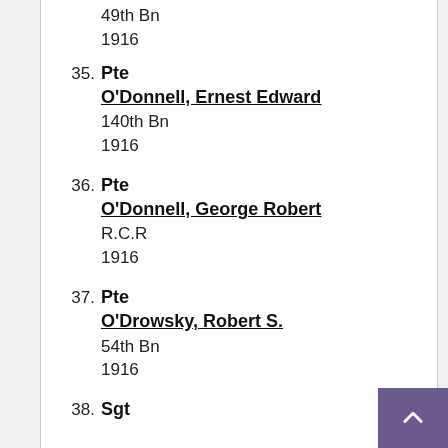49th Bn
1916
35. Pte
O'Donnell, Ernest Edward
140th Bn
1916
36. Pte
O'Donnell, George Robert
R.C.R
1916
37. Pte
O'Drowsky, Robert S.
54th Bn
1916
38. Sgt